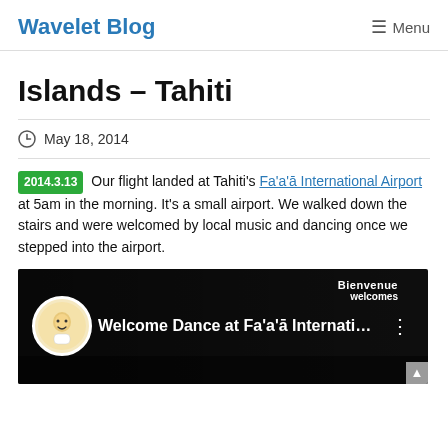Wavelet Blog   ≡ Menu
Islands – Tahiti
May 18, 2014
2014.3.13  Our flight landed at Tahiti's Fa'a'ā International Airport at 5am in the morning. It's a small airport. We walked down the stairs and were welcomed by local music and dancing once we stepped into the airport.
[Figure (screenshot): Video thumbnail showing Welcome Dance at Fa'a'ā Internati... with a cartoon avatar icon, on a dark background with Bienvenue/welcomes text visible.]